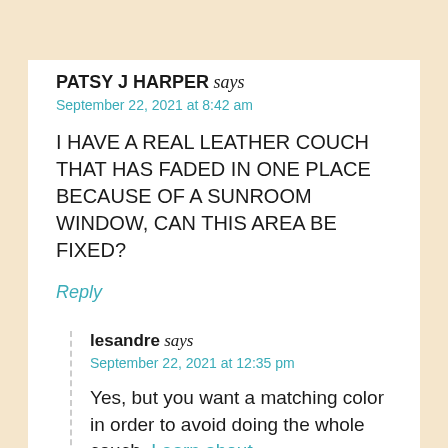PATSY J HARPER says
September 22, 2021 at 8:42 am
I HAVE A REAL LEATHER COUCH THAT HAS FADED IN ONE PLACE BECAUSE OF A SUNROOM WINDOW, CAN THIS AREA BE FIXED?
Reply
lesandre says
September 22, 2021 at 12:35 pm
Yes, but you want a matching color in order to avoid doing the whole couch. Learn about